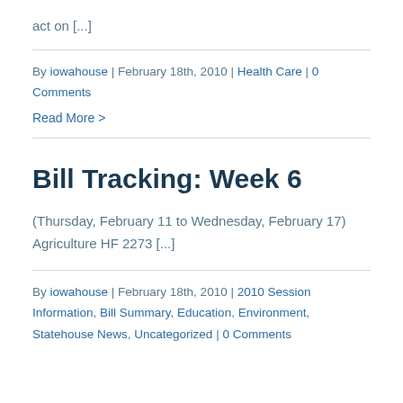act on [...]
By iowahouse | February 18th, 2010 | Health Care | 0 Comments
Read More >
Bill Tracking: Week 6
(Thursday, February 11 to Wednesday, February 17) Agriculture HF 2273 [...]
By iowahouse | February 18th, 2010 | 2010 Session Information, Bill Summary, Education, Environment, Statehouse News, Uncategorized | 0 Comments